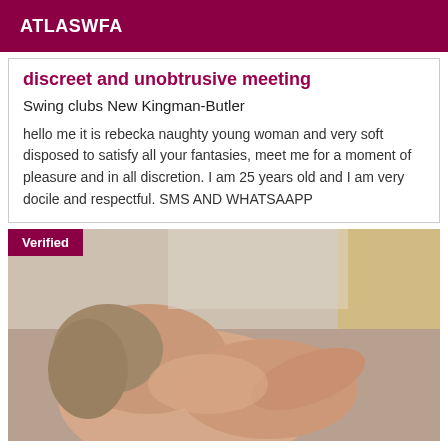ATLASWFA
discreet and unobtrusive meeting
Swing clubs New Kingman-Butler
hello me it is rebecka naughty young woman and very soft disposed to satisfy all your fantasies, meet me for a moment of pleasure and in all discretion. I am 25 years old and I am very docile and respectful. SMS AND WHATSAAPP
[Figure (photo): Photo of a person, partially visible, indoor setting with light background. A 'Verified' badge is shown in the top-left corner.]